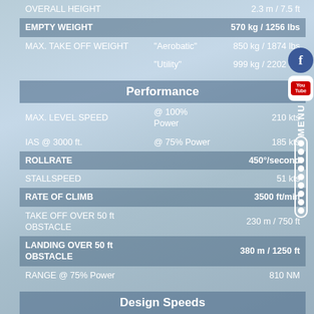|  |  |  |
| --- | --- | --- |
| OVERALL HEIGHT |  | 2.3 m / 7.5 ft |
| EMPTY WEIGHT |  | 570 kg / 1256 lbs |
| MAX. TAKE OFF WEIGHT | "Aerobatic" | 850 kg / 1874 lbs |
|  | "Utility" | 999 kg / 2202 lbs |
Performance
|  |  |  |
| --- | --- | --- |
| MAX. LEVEL SPEED | @ 100% Power | 210 kts |
| IAS @ 3000 ft. | @ 75% Power | 185 kts |
| ROLLRATE |  | 450°/second |
| STALLSPEED |  | 51 kts |
| RATE OF CLIMB |  | 3500 ft/min |
| TAKE OFF OVER 50 ft OBSTACLE |  | 230 m / 750 ft |
| LANDING OVER 50 ft OBSTACLE |  | 380 m / 1250 ft |
| RANGE @ 75% Power |  | 810 NM |
Design Speeds
|  |  |  |
| --- | --- | --- |
| VNE (velocity never exceed) |  | 225 kts / 416 km/h |
| Safe Load Factors | "Aerobatic flight" | +/-10G |
|  | "Utility" | +4,4G / -2G |